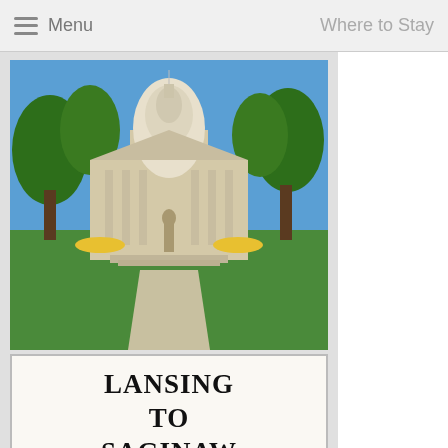Menu   Where to Stay
[Figure (photo): Photo of Michigan State Capitol building in Lansing with white dome, trees and lawn, with overlay text reading LANSING TO SAGINAW]
Region 5 Lansing and Saginaw Area
From Lansing to Saginaw - Michigan Life's Region 5 is full of exciting attractions and our State Capitol is in